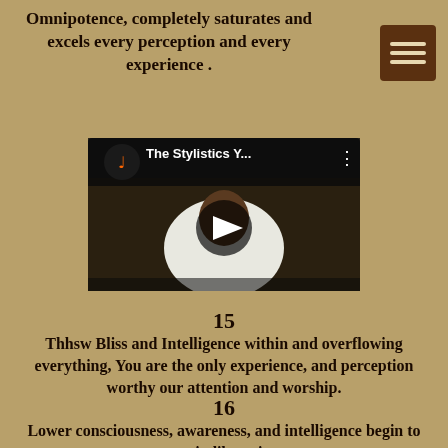Omnipotence, completely saturates and excels every perception and every experience .
[Figure (screenshot): YouTube video thumbnail showing a man in a white jacket, with a music note icon and text 'The Stylistics Y...' and a play button overlay]
15
Thhsw Bliss and Intelligence within and overflowing everything, You are the only experience, and perception worthy our attention and worship.
16
Lower consciousness, awareness, and intelligence begin to attain liberation